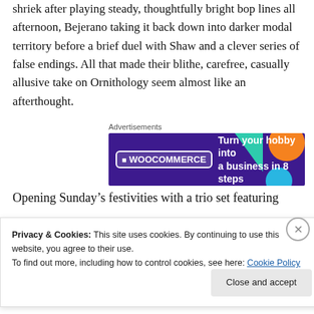shriek after playing steady, thoughtfully bright bop lines all afternoon, Bejerano taking it back down into darker modal territory before a brief duel with Shaw and a clever series of false endings. All that made their blithe, carefree, casually allusive take on Ornithology seem almost like an afterthought.
[Figure (other): WooCommerce advertisement banner: dark purple background with teal and orange decorative shapes, WooCommerce logo on left, text 'Turn your hobby into a business in 8 steps' on right. Labeled 'Advertisements' above.]
Opening Sunday’s festivities with a trio set featuring
Privacy & Cookies: This site uses cookies. By continuing to use this website, you agree to their use.
To find out more, including how to control cookies, see here: Cookie Policy
Close and accept